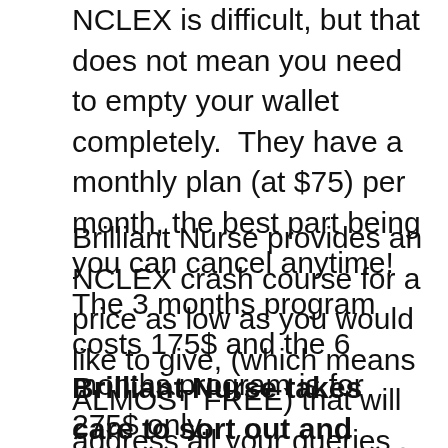NCLEX is difficult, but that does not mean you need to empty your wallet completely.  They have a monthly plan (at $75) per month, the best part being you can cancel anytime! The 3 months program costs 175$ and the 6 months program is for 275$ only.
Brilliant Nurse provides an NCLEX crash course for a price as low as you would like to give, (which means ALMOST FREE) that will address all your queries , as to how to get started and much more than that. It will simplify things for you, boost your confidence and help to build courage to take up the right approach for the exam. So, if you trust them take the complete test prep plan and pass with flying colours!
Brilliant Nurse takes care to sort out and break every question such that you may first understand the type of the question and its demand, then you can answer it correctly.